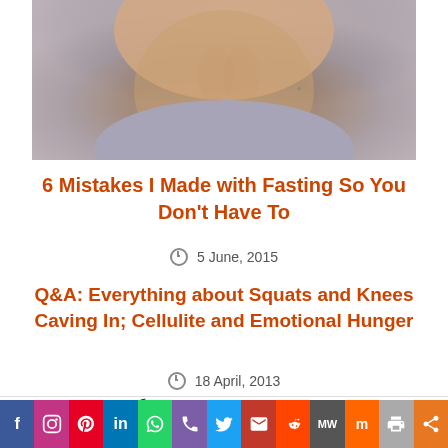[Figure (photo): Cropped torso photo of a person with athletic abdomen wearing grey clothing, with a tattoo visible on the side]
6 Mistakes I Made with Fasting So You Don't Have To
5 June, 2015
Q&A: Everything about Squats and Knees Caving In; Cellulite and Emotional Hunger
18 April, 2013
Ние използваме бисквитки. Продължавайки да използвате нашия сайт, Вие се съгласявате с това.
Съгласен съм